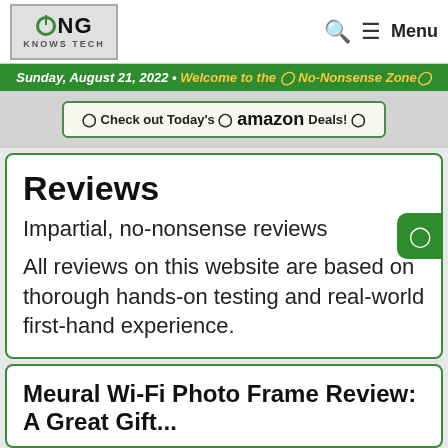DONG KNOWS TECH — Menu
Sunday, August 21, 2022 • Welcome to the 🔘 No-Nonsense Zone🔘
🔘 Check out Today's 🔘 amazon Deals! 🔘
Reviews
Impartial, no-nonsense reviews
All reviews on this website are based on thorough hands-on testing and real-world first-hand experience.
Meural Wi-Fi Photo Frame Review: A Great Gift...